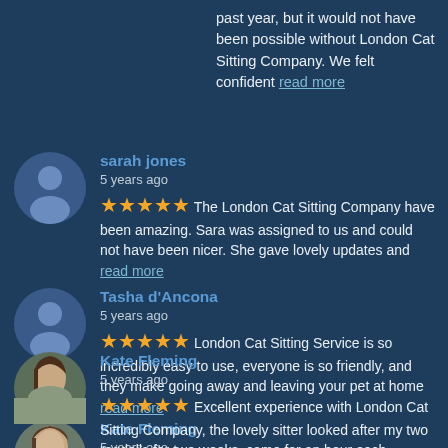past year, but it would not have been possible without London Cat Sitting Company. We felt confident read more
sarah jones
5 years ago
★★★★★ The London Cat Sitting Company have been amazing. Sara was assigned to us and could not have been nicer. She gave lovely updates and read more
Tasha d'Ancona
5 years ago
★★★★★ London Cat Sitting Service is so incredibly easy to use, everyone is so friendly, and they make going away and leaving your pet at home read more
Kate Fleming
5 years ago
★★★★★ Excellent experience with London Cat Sitting Company, the lovely sitter looked after my two ragdolls for two weeks, came for an hour each